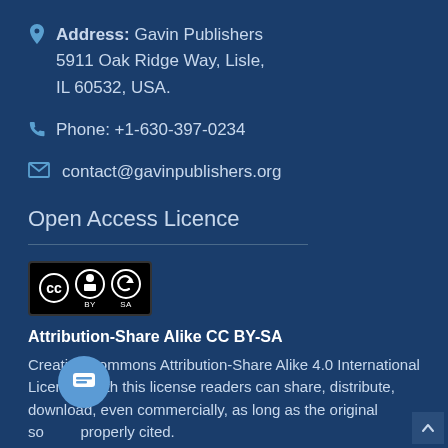Address: Gavin Publishers
5911 Oak Ridge Way, Lisle,
IL 60532, USA.
Phone: +1-630-397-0234
contact@gavinpublishers.org
Open Access Licence
[Figure (logo): Creative Commons CC BY-SA license logo with three circles showing CC, person, and share-alike icons with BY and SA labels]
Attribution-Share Alike CC BY-SA
Creative Commons Attribution-Share Alike 4.0 International License. With this license readers can share, distribute, download, even commercially, as long as the original source is properly cited.